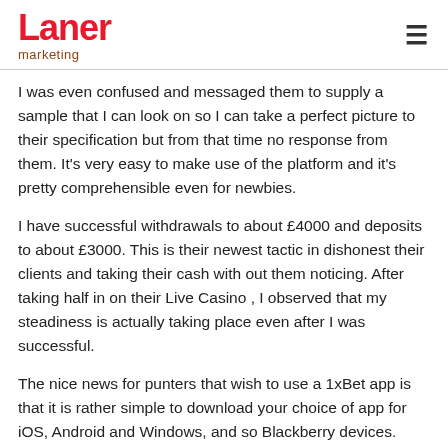Laner marketing
I was even confused and messaged them to supply a sample that I can look on so I can take a perfect picture to their specification but from that time no response from them. It's very easy to make use of the platform and it's pretty comprehensible even for newbies.
I have successful withdrawals to about £4000 and deposits to about £3000. This is their newest tactic in dishonest their clients and taking their cash with out them noticing. After taking half in on their Live Casino , I observed that my steadiness is actually taking place even after I was successful.
The nice news for punters that wish to use a 1xBet app is that it is rather simple to download your choice of app for iOS, Android and Windows, and so Blackberry devices.